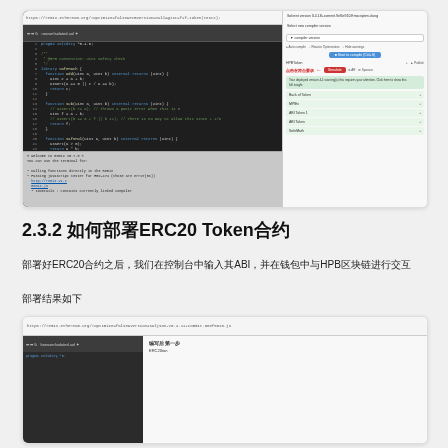[Figure (screenshot): Browser screenshot showing Remix IDE with Solidity smart contract code on left panel and compilation/deployment options on right panel]
2.3.2 如何部署ERC20 Token合约
部署好ERC20合约之后，我们在控制台中输入其ABI，并在钱包中与HPB区块链进行交互
部署结果如下
[Figure (screenshot): Browser screenshot showing Remix IDE with token contract deployment result]